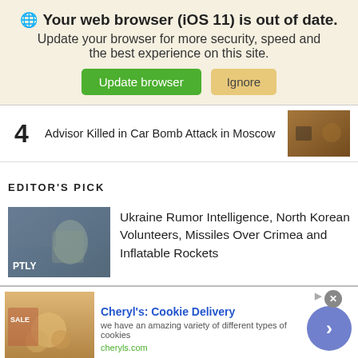🌐 Your web browser (iOS 11) is out of date. Update your browser for more security, speed and the best experience on this site. [Update browser] [Ignore]
4 Advisor Killed in Car Bomb Attack in Moscow
EDITOR'S PICK
Ukraine Rumor Intelligence, North Korean Volunteers, Missiles Over Crimea and Inflatable Rockets
Cheryl's: Cookie Delivery — we have an amazing variety of different types of cookies — cheryls.com